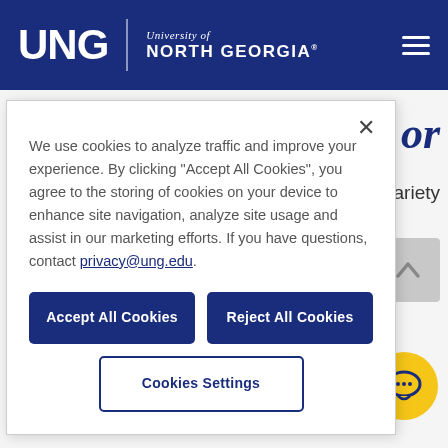[Figure (screenshot): University of North Georgia website header with dark navy blue background showing the UNG logo (bold white letters 'UNG' with a vertical divider, then 'University of North Georgia' text), and a hamburger menu icon on the right.]
We use cookies to analyze traffic and improve your experience. By clicking "Accept All Cookies", you agree to the storing of cookies on your device to enhance site navigation, analyze site usage and assist in our marketing efforts. If you have questions, contact privacy@ung.edu.
Accept All Cookies
Reject All Cookies
Cookies Settings